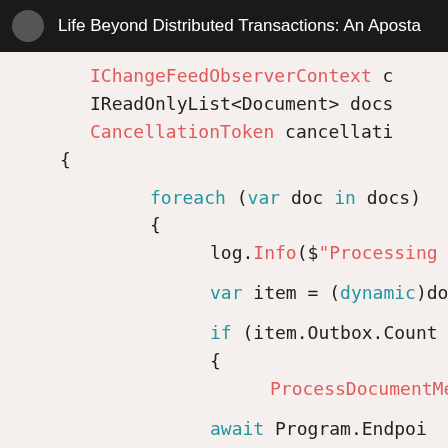Life Beyond Distributed Transactions: An Aposta
[Figure (screenshot): C# code snippet showing a change feed observer implementation with foreach loop iterating over docs, logging, dynamic cast, and outbox count check with ProcessDocumentMessage call]